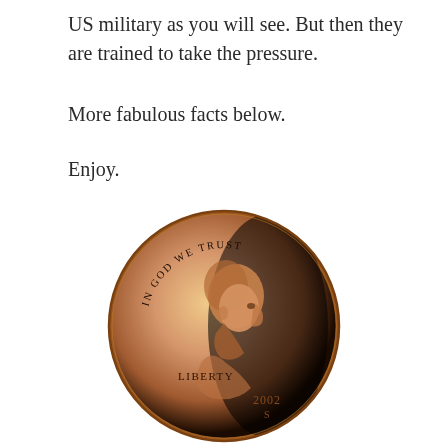US military as you will see. But then they are trained to take the pressure.
More fabulous facts below.
Enjoy.
[Figure (photo): A US penny (2002 S) showing the obverse side with Lincoln's portrait, inscriptions IN GOD WE TRUST, LIBERTY, and 2002 S. The coin has a copper/bronze finish with dramatic lighting creating a dark shadow on the right side.]